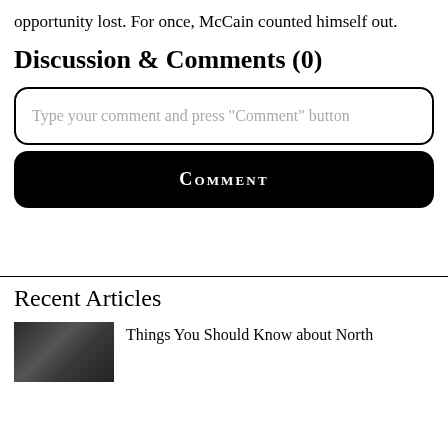opportunity lost. For once, McCain counted himself out.
Discussion & Comments (0)
Type your comment and press "Comment" button
COMMENT
Recent Articles
Things You Should Know about North